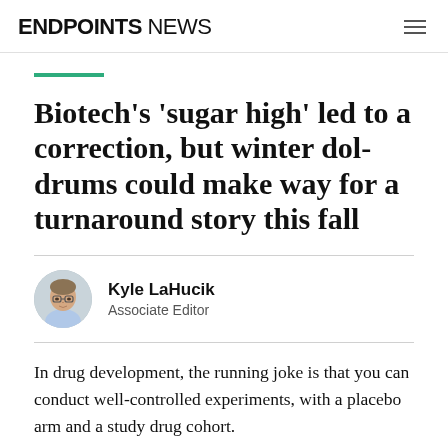ENDPOINTS NEWS
Biotech's 'sugar high' led to a correction, but winter doldrums could make way for a turnaround story this fall
[Figure (photo): Headshot photo of Kyle LaHucik, author, wearing glasses and a light blue shirt, circular crop]
Kyle LaHucik
Associate Editor
In drug development, the running joke is that you can conduct well-controlled experiments, with a placebo arm and a study drug cohort.